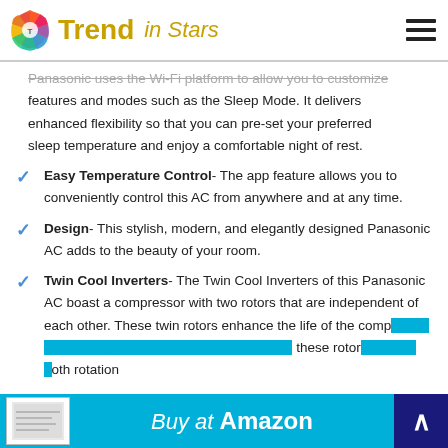Trend in Stars
Panasonic uses the Wi-Fi platform to allow you to customize features and modes such as the Sleep Mode. It delivers enhanced flexibility so that you can pre-set your preferred sleep temperature and enjoy a comfortable night of rest.
Easy Temperature Control- The app feature allows you to conveniently control this AC from anywhere and at any time.
Design- This stylish, modern, and elegantly designed Panasonic AC adds to the beauty of your room.
Twin Cool Inverters- The Twin Cool Inverters of this Panasonic AC boast a compressor with two rotors that are independent of each other. These twin rotors enhance the life of the compressor by reducing wear and tear. On top of that, these rotors support both rotation